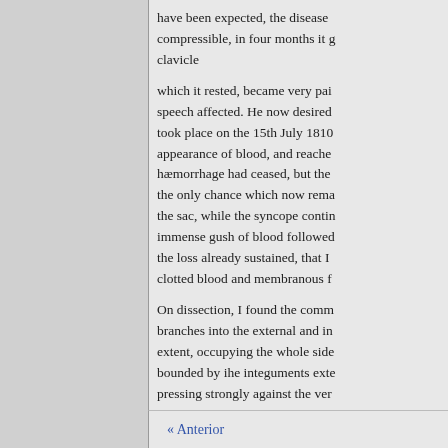have been expected, the disease compressible, in four months it g clavicle
which it rested, became very pai speech affected. He now desired took place on the 15th July 1810 appearance of blood, and reache hæmorrhage had ceased, but the the only chance which now rema the sac, while the syncope contin immense gush of blood followed the loss already sustained, that I clotted blood and membranous f
On dissection, I found the comm branches into the external and in extent, occupying the whole side bounded by ihe integuments exte pressing strongly against the ver to convey a better idea of the nat judiciously performed, I accomp artery, taken by my friend Mr Bu
« Anterior